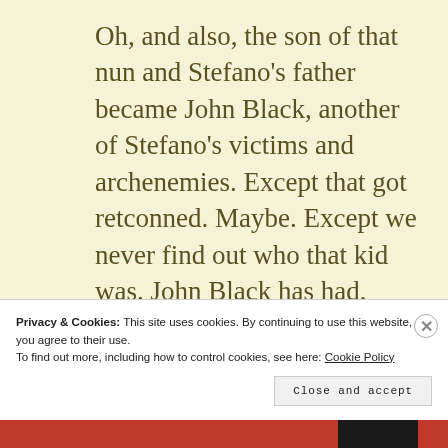Oh, and also, the son of that nun and Stefano's father became John Black, another of Stefano's victims and archenemies. Except that got retconned. Maybe. Except we never find out who that kid was. John Black has had, like, eight different origin stories. I want to keep this obituary less lengthy than War & Peace so
Privacy & Cookies: This site uses cookies. By continuing to use this website, you agree to their use.
To find out more, including how to control cookies, see here: Cookie Policy
Close and accept